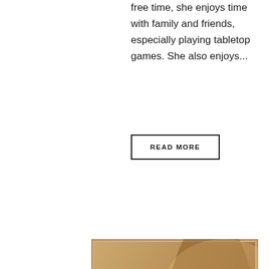free time, she enjoys time with family and friends, especially playing tabletop games. She also enjoys...
READ MORE
[Figure (illustration): Inspirational quote card with tan/golden background and silhouette of a person, containing the quote: "For the Holy Spirit to empower us, we need Him to fill us." attributed to -Jessica Andrews. A circular scroll-up button appears at the right edge.]